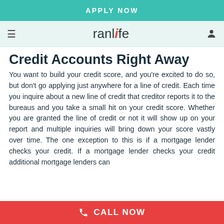APPLY NOW
[Figure (logo): RanLife logo with hamburger menu icon on left and user/account icon on right]
Credit Accounts Right Away
You want to build your credit score, and you're excited to do so, but don't go applying just anywhere for a line of credit. Each time you inquire about a new line of credit that creditor reports it to the bureaus and you take a small hit on your credit score. Whether you are granted the line of credit or not it will show up on your report and multiple inquiries will bring down your score vastly over time. The one exception to this is if a mortgage lender checks your credit. If a mortgage lender checks your credit additional mortgage lenders can
CALL NOW